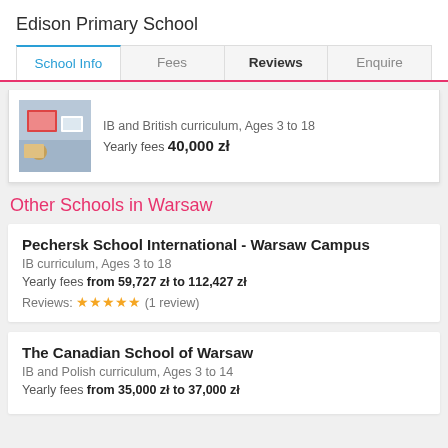Edison Primary School
School Info | Fees | Reviews | Enquire
IB and British curriculum, Ages 3 to 18
Yearly fees 40,000 zł
Other Schools in Warsaw
Pechersk School International - Warsaw Campus
IB curriculum, Ages 3 to 18
Yearly fees from 59,727 zł to 112,427 zł
Reviews: ★★★★★ (1 review)
The Canadian School of Warsaw
IB and Polish curriculum, Ages 3 to 14
Yearly fees from 35,000 zł to 37,000 zł